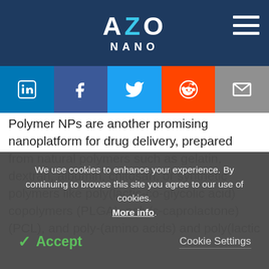AZO NANO
Polymer NPs are another promising nanoplatform for drug delivery, prepared from natural polymers such as gelatin, dextran, albumin, chitosan, or synthetic polymers like poly(lactic-co-glycolic acid) copolymers (PLGA), poly(ε-caprolactone) (PCL), and poly-(amino acids) and poly(lactic acid) (PLA). Polymer NPs used individually or in conjunction improve water solubility
We use cookies to enhance your experience. By continuing to browse this site you agree to our use of cookies. More info.